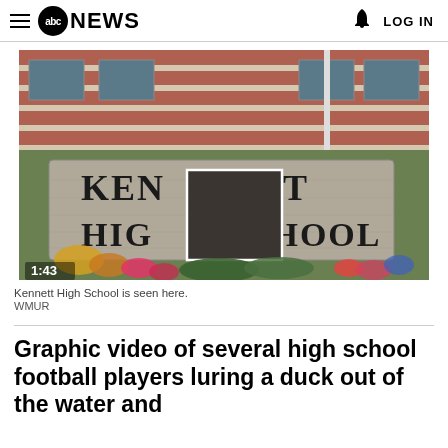abc NEWS  LOG IN
[Figure (photo): Photograph of the Kennett High School stone sign with flowers in front of a brick building. A dark square overlay obscures part of the sign text. Video timestamp 1:43 shown at bottom left.]
Kennett High School is seen here.
WMUR
Graphic video of several high school football players luring a duck out of the water and